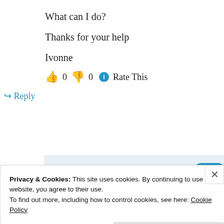What can I do?
Thanks for your help
Ivonne
👍 0 👎 0 ℹ Rate This
↪ Reply
[Figure (screenshot): App promotion banner with italic text 'the go.' on a light blue background, with a WordPress icon button and 'GET THE APP' text]
Privacy & Cookies: This site uses cookies. By continuing to use this website, you agree to their use.
To find out more, including how to control cookies, see here: Cookie Policy
Close and accept